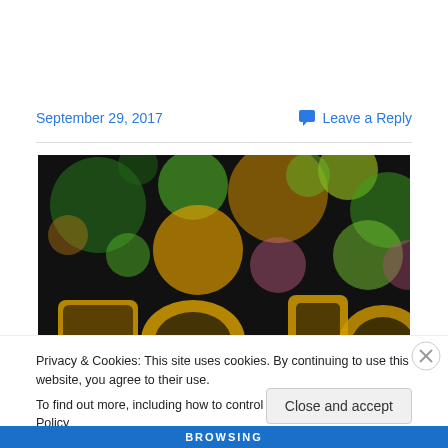September 29, 2017
Leave a Reply
[Figure (photo): Bokeh photo of colorful blurred lights (green, yellow, orange, pink) with large golden 3D numbers partially visible at the bottom, on a dark background.]
Privacy & Cookies: This site uses cookies. By continuing to use this website, you agree to their use.
To find out more, including how to control cookies, see here: Cookie Policy
Close and accept